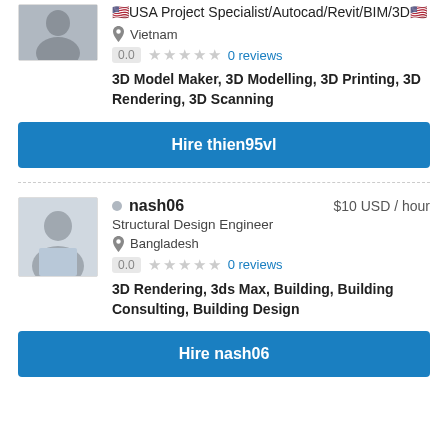🇺🇸USA Project Specialist/Autocad/Revit/BIM/3D🇺🇸
Vietnam
0.0  ★★★★★  0 reviews
3D Model Maker, 3D Modelling, 3D Printing, 3D Rendering, 3D Scanning
Hire thien95vl
nash06  $10 USD / hour
Structural Design Engineer
Bangladesh
0.0  ★★★★★  0 reviews
3D Rendering, 3ds Max, Building, Building Consulting, Building Design
Hire nash06